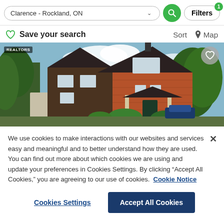Clarence - Rockland, ON | Filters (1)
Save your search | Sort | Map
[Figure (photo): Exterior photo of a two-story brick house with dark roof, green trees, blue sky, REALTORS badge in top left, heart icon in top right]
We use cookies to make interactions with our websites and services easy and meaningful and to better understand how they are used. You can find out more about which cookies we are using and update your preferences in Cookies Settings. By clicking "Accept All Cookies," you are agreeing to our use of cookies. Cookie Notice
Cookies Settings | Accept All Cookies